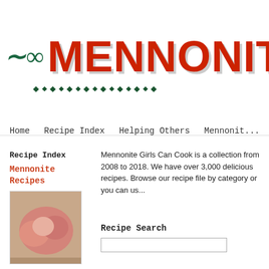MENNONITE (logo with swirl decoration and dot divider)
Home   Recipe Index   Helping Others   Mennonit...
Recipe Index
Mennonite Recipes
[Figure (photo): Photo of pastries/cookies on a plate]
Mennonite Girls Can Cook is a collection from 2008 to 2018. We have over 3,000 delicious recipes. Browse our recipe file by category or you can us...
Recipe Search